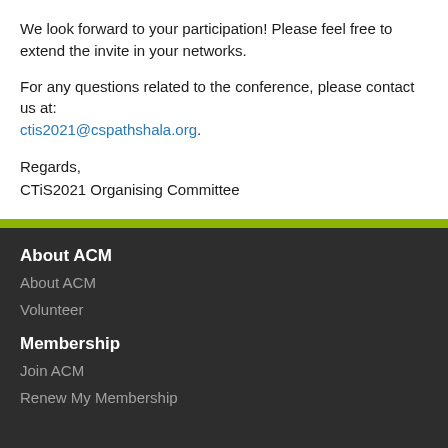We look forward to your participation! Please feel free to extend the invite in your networks.
For any questions related to the conference, please contact us at: ctis2021@cspathshala.org.
Regards,
CTiS2021 Organising Committee
About ACM
About ACM
Volunteer
Membership
Join ACM
Renew My Membership